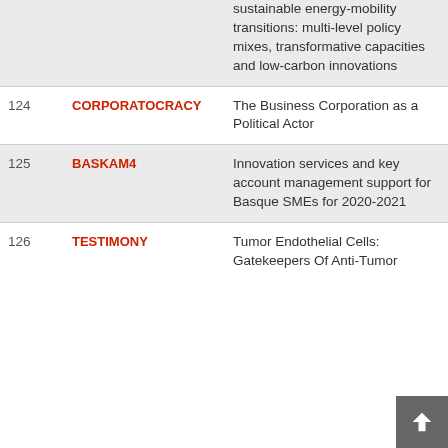| # | Code | Title | Year |
| --- | --- | --- | --- |
|  |  | sustainable energy-mobility transitions: multi-level policy mixes, transformative capacities and low-carbon innovations | 20 |
| 124 | CORPORATOCRACY | The Business Corporation as a Political Actor | 20 |
| 125 | BASKAM4 | Innovation services and key account management support for Basque SMEs for 2020-2021 | 20 |
| 126 | TESTIMONY | Tumor Endothelial Cells: Gatekeepers Of Anti-Tumor | 20 |